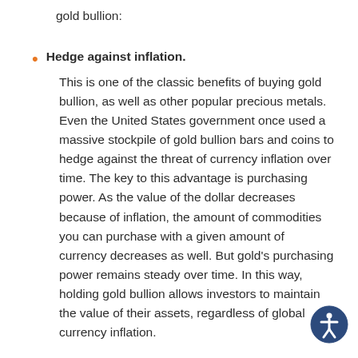gold bullion:
Hedge against inflation. This is one of the classic benefits of buying gold bullion, as well as other popular precious metals. Even the United States government once used a massive stockpile of gold bullion bars and coins to hedge against the threat of currency inflation over time. The key to this advantage is purchasing power. As the value of the dollar decreases because of inflation, the amount of commodities you can purchase with a given amount of currency decreases as well. But gold's purchasing power remains steady over time. In this way, holding gold bullion allows investors to maintain the value of their assets, regardless of global currency inflation.